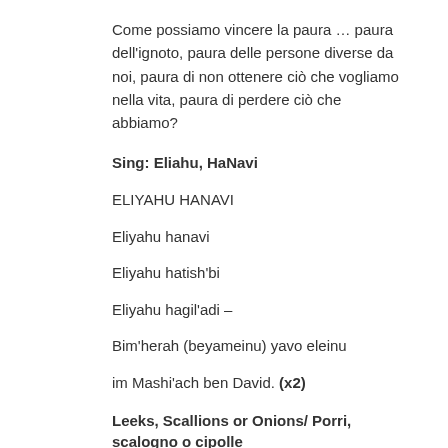Come possiamo vincere la paura … paura dell'ignoto, paura delle persone diverse da noi, paura di non ottenere ciò che vogliamo nella vita, paura di perdere ciò che abbiamo?
Sing: Eliahu, HaNavi
ELIYAHU HANAVI
Eliyahu hanavi
Eliyahu hatish'bi
Eliyahu hagil'adi –
Bim'herah (beyameinu) yavo eleinu
im Mashi'ach ben David. (x2)
Leeks, Scallions or Onions/ Porri, scalogno o cipolle
Rabbi/Seder Leader: May it be Your will, God, that